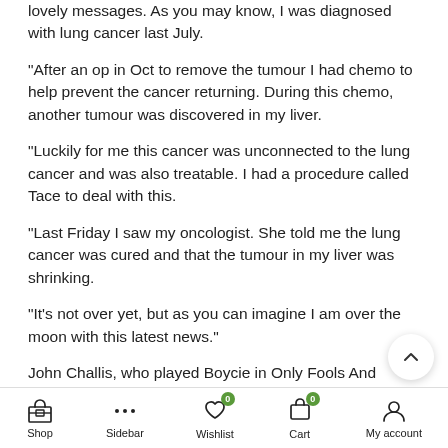lovely messages. As you may know, I was diagnosed with lung cancer last July.
“After an op in Oct to remove the tumour I had chemo to help prevent the cancer returning. During this chemo, another tumour was discovered in my liver.
“Luckily for me this cancer was unconnected to the lung cancer and was also treatable. I had a procedure called Tace to deal with this.
“Last Friday I saw my oncologist. She told me the lung cancer was cured and that the tumour in my liver was shrinking.
“It’s not over yet, but as you can imagine I am over the moon with this latest news.”
John Challis, who played Boycie in Only Fools And Horses, died
Shop  Sidebar  Wishlist  Cart  My account